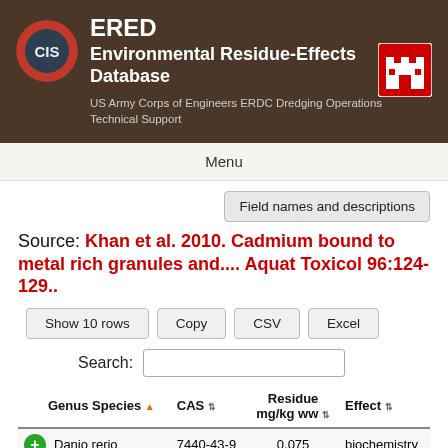ERED Environmental Residue-Effects Database — US Army Corps of Engineers ERDC Dredging Operations Technical Support
Menu
Field names and descriptions
Source: Khan et al. 2010. Cadmium bound to metal rich granules and.... Aquat Toxicol 96:124-129..
Show 10 rows  Copy  CSV  Excel
Search:
| Genus Species | CAS | Residue mg/kg ww | Effect |
| --- | --- | --- | --- |
| + | Danio rerio | 7440-43-9 | 0.075 | biochemistry |
| + | Danio rerio | 7440-43-9 | 0.02 | biochemistry |